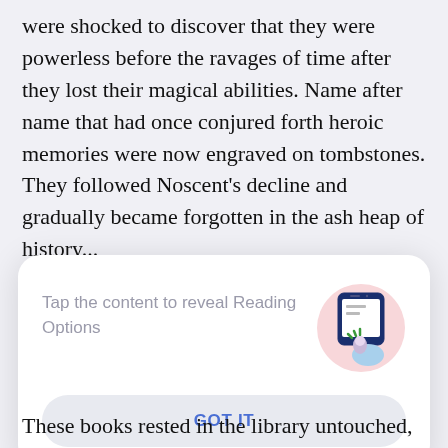were shocked to discover that they were powerless before the ravages of time after they lost their magical abilities. Name after name that had once conjured forth heroic memories were now engraved on tombstones. They followed Noscent's decline and gradually became forgotten in the ash heap of history...

The only things they left behind were the magic books in the library that Lin Yun just left. Each of
[Figure (screenshot): A modal dialog with rounded corners on a light background. Text reads 'Tap the content to reveal Reading Options' in gray. On the right is an illustration of a phone with a finger tapping it, set in a pink circle. Below is a button with text 'GOT IT' in blue on a light gray rounded rectangle.]
These books rested in the library untouched,